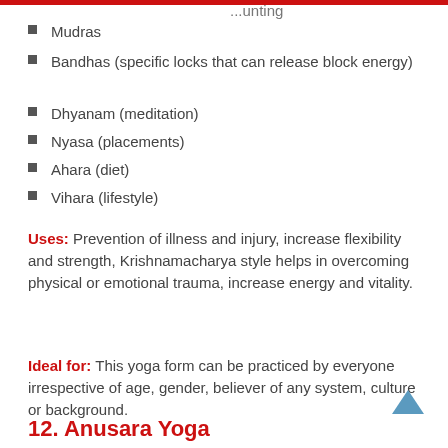...unting
Mudras
Bandhas (specific locks that can release block energy)
Dhyanam (meditation)
Nyasa (placements)
Ahara (diet)
Vihara (lifestyle)
Uses: Prevention of illness and injury, increase flexibility and strength, Krishnamacharya style helps in overcoming physical or emotional trauma, increase energy and vitality.
Ideal for: This yoga form can be practiced by everyone irrespective of age, gender, believer of any system, culture or background.
12. Anusara Yoga